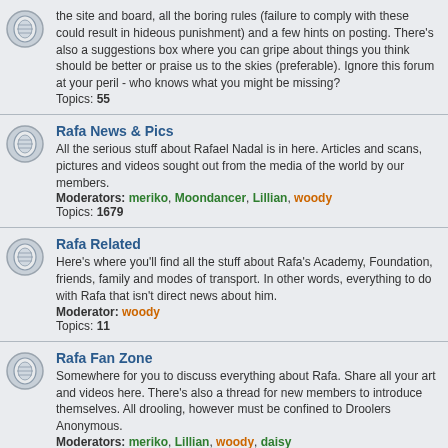Topics: 55
Rafa News & Pics - All the serious stuff about Rafael Nadal is in here. Articles and scans, pictures and videos sought out from the media of the world by our members. Moderators: meriko, Moondancer, Lillian, woody. Topics: 1679
Rafa Related - Here's where you'll find all the stuff about Rafa's Academy, Foundation, friends, family and modes of transport. In other words, everything to do with Rafa that isn't direct news about him. Moderator: woody. Topics: 11
Rafa Fan Zone - Somewhere for you to discuss everything about Rafa. Share all your art and videos here. There's also a thread for new members to introduce themselves. All drooling, however must be confined to Droolers Anonymous. Moderators: meriko, Lillian, woody, daisy. Topics: 84
Droolers Anonymous - For those who just can't contain themselves - please confine all drooling in here to leave the fan zone for those of a less hormonal nature. This is where you can discuss Rafa's friends, too. Moderators: meriko, Lillian, woody. Topics: 45
Fan Experiences - Have you been to a tournament and seen Rafa? Want to read other fanreports..? This is the place for you! Moderators: meriko, Lillian, woody, Angela. Topics: 500